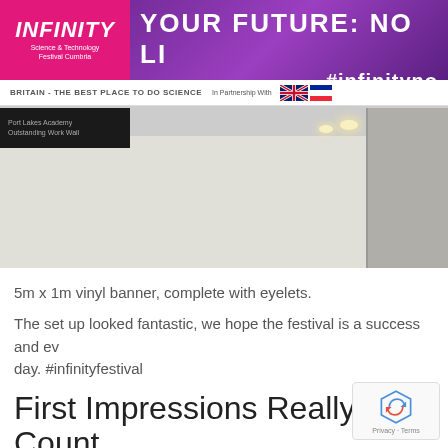[Figure (photo): Indoor photo showing a large vinyl banner for 'INFINITY Science & Technology Festival Cumbria' hung above an interior corridor. The banner is purple/blue with a pink section showing the INFINITY logo. Text on banner reads 'YOUR FUTURE: NO LI...' and '#infinityno...' and 'BRITAIN - THE BEST PLACE TO DO SCIENCE'. A black sign is visible on the wall below, and the room shows ceiling lights.]
5m x 1m vinyl banner, complete with eyelets.
The set up looked fantastic, we hope the festival is a success and ev... day. #infinityfestival
First Impressions Really Count
Posted on October 14, 2015